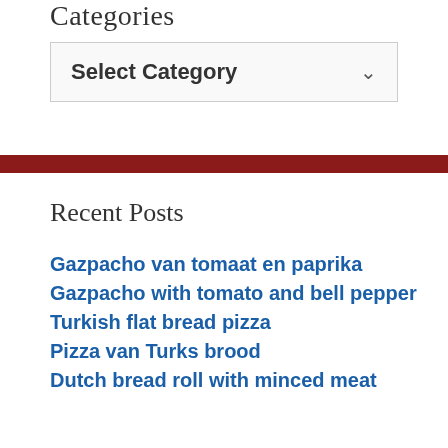Categories
[Figure (screenshot): A dropdown select box labeled 'Select Category' with a chevron arrow on the right, bordered box with light gray background]
Recent Posts
Gazpacho van tomaat en paprika
Gazpacho with tomato and bell pepper
Turkish flat bread pizza
Pizza van Turks brood
Dutch bread roll with minced meat